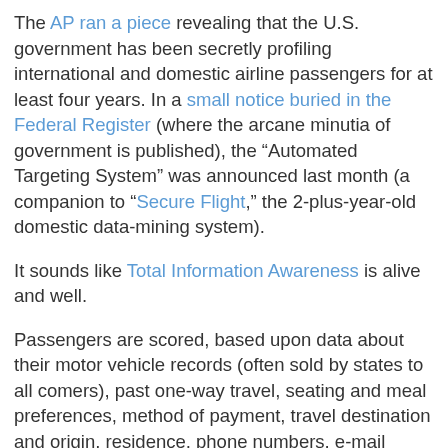The AP ran a piece revealing that the U.S. government has been secretly profiling international and domestic airline passengers for at least four years. In a small notice buried in the Federal Register (where the arcane minutia of government is published), the “Automated Targeting System” was announced last month (a companion to “Secure Flight,” the 2-plus-year-old domestic data-mining system).
It sounds like Total Information Awareness is alive and well.
Passengers are scored, based upon data about their motor vehicle records (often sold by states to all comers), past one-way travel, seating and meal preferences, method of payment, travel destination and origin, residence, phone numbers, e-mail addresses, frequent flyer information, and other data. The data will be kept on file for at least 40 years, under current plans.
You can’t find out or challenge your own score or data, but the government is happy to share the info with foreign